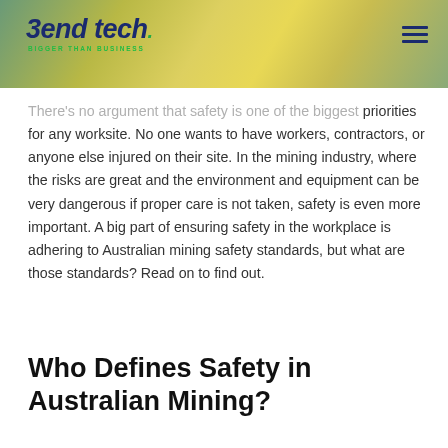[Figure (illustration): Bendtech logo and header banner with floral/nature background in yellow-green tones. Logo reads 'Bendtech' in bold italic dark blue with tagline 'BIGGER THAN BUSINESS' in green. Hamburger menu icon on right.]
There's no argument that safety is one of the biggest priorities for any worksite. No one wants to have workers, contractors, or anyone else injured on their site. In the mining industry, where the risks are great and the environment and equipment can be very dangerous if proper care is not taken, safety is even more important. A big part of ensuring safety in the workplace is adhering to Australian mining safety standards, but what are those standards? Read on to find out.
Who Defines Safety in Australian Mining?